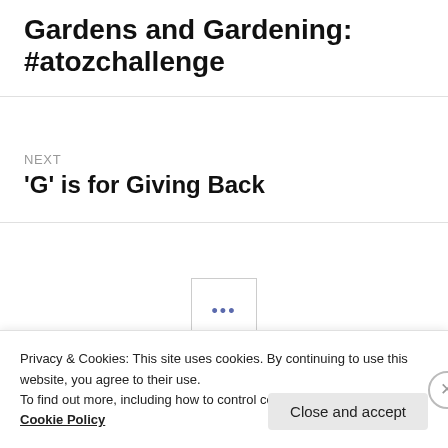Gardens and Gardening: #atozchallenge
NEXT
'G' is for Giving Back
•••
Archives
Privacy & Cookies: This site uses cookies. By continuing to use this website, you agree to their use.
To find out more, including how to control cookies, see here: Cookie Policy
Close and accept